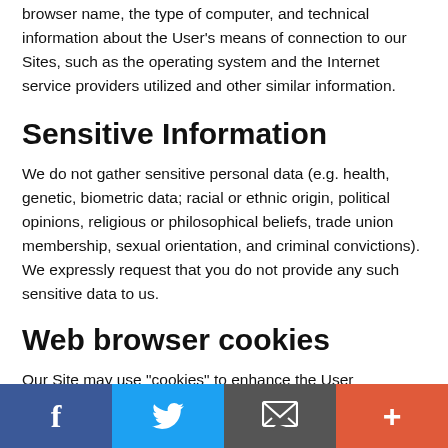personal identification information may include the browser name, the type of computer, and technical information about the User's means of connection to our Sites, such as the operating system and the Internet service providers utilized and other similar information.
Sensitive Information
We do not gather sensitive personal data (e.g. health, genetic, biometric data; racial or ethnic origin, political opinions, religious or philosophical beliefs, trade union membership, sexual orientation, and criminal convictions). We expressly request that you do not provide any such sensitive data to us.
Web browser cookies
Our Site may use “cookies” to enhance the User experience